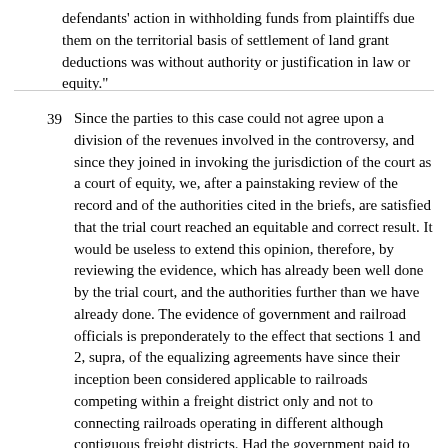defendants' action in withholding funds from plaintiffs due them on the territorial basis of settlement of land grant deductions was without authority or justification in law or equity."
39  Since the parties to this case could not agree upon a division of the revenues involved in the controversy, and since they joined in invoking the jurisdiction of the court as a court of equity, we, after a painstaking review of the record and of the authorities cited in the briefs, are satisfied that the trial court reached an equitable and correct result. It would be useless to extend this opinion, therefore, by reviewing the evidence, which has already been well done by the trial court, and the authorities further than we have already done. The evidence of government and railroad officials is preponderately to the effect that sections 1 and 2, supra, of the equalizing agreements have since their inception been considered applicable to railroads competing within a freight district only and not to connecting railroads operating in different although contiguous freight districts. Had the government paid to each participating carrier its share of the charges for carrying each shipment on the same principle that it found the total instead of paying the delivering carrier the total charges to be distributed, there could have been no ground of complaint by any of the parties in view of the decision of the Supreme Court in Louisville and Nashville Railroad Company v.